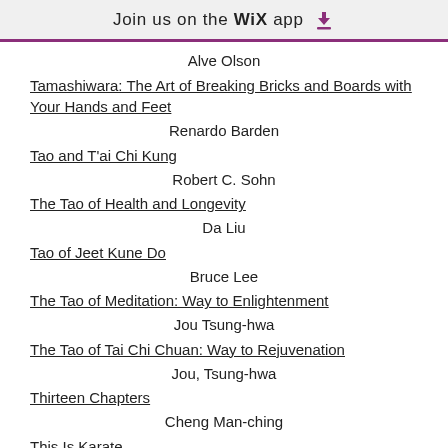Join us on the WiX app
Alve Olson
Tamashiwara: The Art of Breaking Bricks and Boards with Your Hands and Feet
Renardo Barden
Tao and T'ai Chi Kung
Robert C. Sohn
The Tao of Health and Longevity
Da Liu
Tao of Jeet Kune Do
Bruce Lee
The Tao of Meditation: Way to Enlightenment
Jou Tsung-hwa
The Tao of Tai Chi Chuan: Way to Rejuvenation
Jou, Tsung-hwa
Thirteen Chapters
Cheng Man-ching
This Is Karate
Masutatsu Oyama
Tui Shou & San Shou in T'ai Chi Ch'uan
Yiu Kwong